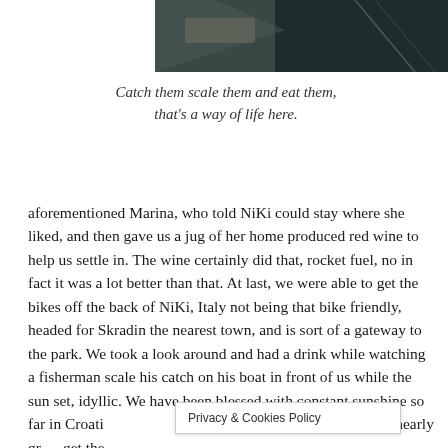[Figure (photo): Partial photo showing dark water or a boat hull, cropped at top of page]
Catch them scale them and eat them, that's a way of life here.
aforementioned Marina, who told NiKi could stay where she liked, and then gave us a jug of her home produced red wine to help us settle in. The wine certainly did that, rocket fuel, no in fact it was a lot better than that. At last, we were able to get the bikes off the back of NiKi, Italy not being that bike friendly, headed for Skradin the nearest town, and is sort of a gateway to the park. We took a look around and had a drink while watching a fisherman scale his catch on his boat in front of us while the sun set, idyllic. We have been blessed with constant sunshine so far in Croatia, again filling us with joy and with every turn nearly get the